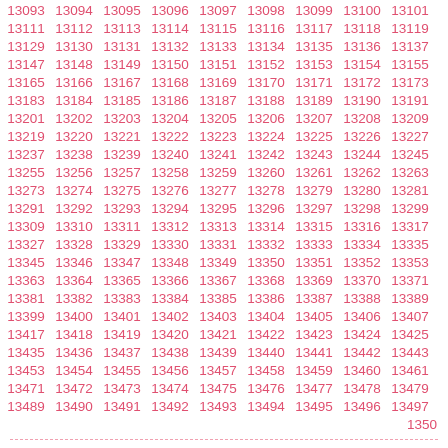| 13093 | 13094 | 13095 | 13096 | 13097 | 13098 | 13099 | 13100 | 13101 |
| 13111 | 13112 | 13113 | 13114 | 13115 | 13116 | 13117 | 13118 | 13119 |
| 13129 | 13130 | 13131 | 13132 | 13133 | 13134 | 13135 | 13136 | 13137 |
| 13147 | 13148 | 13149 | 13150 | 13151 | 13152 | 13153 | 13154 | 13155 |
| 13165 | 13166 | 13167 | 13168 | 13169 | 13170 | 13171 | 13172 | 13173 |
| 13183 | 13184 | 13185 | 13186 | 13187 | 13188 | 13189 | 13190 | 13191 |
| 13201 | 13202 | 13203 | 13204 | 13205 | 13206 | 13207 | 13208 | 13209 |
| 13219 | 13220 | 13221 | 13222 | 13223 | 13224 | 13225 | 13226 | 13227 |
| 13237 | 13238 | 13239 | 13240 | 13241 | 13242 | 13243 | 13244 | 13245 |
| 13255 | 13256 | 13257 | 13258 | 13259 | 13260 | 13261 | 13262 | 13263 |
| 13273 | 13274 | 13275 | 13276 | 13277 | 13278 | 13279 | 13280 | 13281 |
| 13291 | 13292 | 13293 | 13294 | 13295 | 13296 | 13297 | 13298 | 13299 |
| 13309 | 13310 | 13311 | 13312 | 13313 | 13314 | 13315 | 13316 | 13317 |
| 13327 | 13328 | 13329 | 13330 | 13331 | 13332 | 13333 | 13334 | 13335 |
| 13345 | 13346 | 13347 | 13348 | 13349 | 13350 | 13351 | 13352 | 13353 |
| 13363 | 13364 | 13365 | 13366 | 13367 | 13368 | 13369 | 13370 | 13371 |
| 13381 | 13382 | 13383 | 13384 | 13385 | 13386 | 13387 | 13388 | 13389 |
| 13399 | 13400 | 13401 | 13402 | 13403 | 13404 | 13405 | 13406 | 13407 |
| 13417 | 13418 | 13419 | 13420 | 13421 | 13422 | 13423 | 13424 | 13425 |
| 13435 | 13436 | 13437 | 13438 | 13439 | 13440 | 13441 | 13442 | 13443 |
| 13453 | 13454 | 13455 | 13456 | 13457 | 13458 | 13459 | 13460 | 13461 |
| 13471 | 13472 | 13473 | 13474 | 13475 | 13476 | 13477 | 13478 | 13479 |
| 13489 | 13490 | 13491 | 13492 | 13493 | 13494 | 13495 | 13496 | 13497 |
|  |  |  |  |  |  |  |  | 1350 |